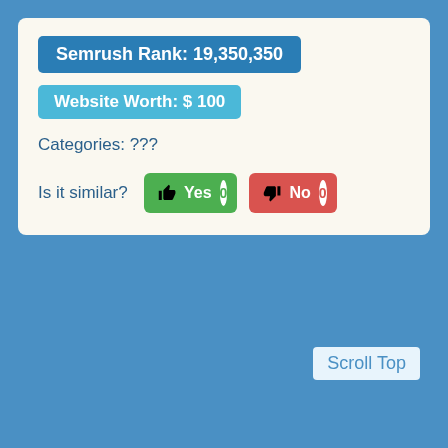Semrush Rank: 19,350,350
Website Worth: $ 100
Categories: ???
Is it similar?  Yes 0  No 0
Scroll Top